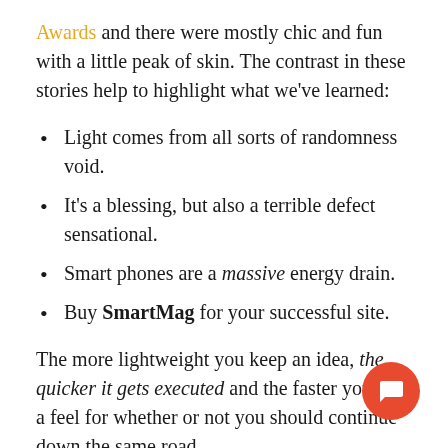Awards and there were mostly chic and fun with a little peak of skin. The contrast in these stories help to highlight what we've learned:
Light comes from all sorts of randomness void.
It's a blessing, but also a terrible defect sensational.
Smart phones are a massive energy drain.
Buy SmartMag for your successful site.
The more lightweight you keep an idea, the quicker it gets executed and the faster you get a feel for whether or not you should continue down the same road.
We'd love to show you how to make a great living as